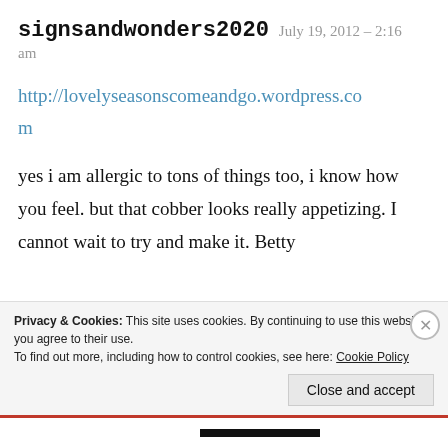signsandwonders2020   July 19, 2012 – 2:16 am
http://lovelyseasonscomeandgo.wordpress.com
yes i am allergic to tons of things too, i know how you feel. but that cobber looks really appetizing. I cannot wait to try and make it. Betty
Privacy & Cookies: This site uses cookies. By continuing to use this website, you agree to their use.
To find out more, including how to control cookies, see here: Cookie Policy
Close and accept